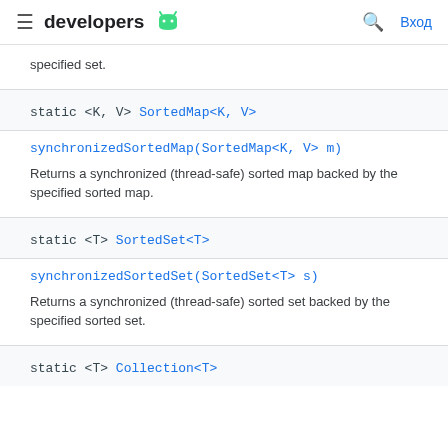developers [android logo] [search] Вход
specified set.
static <K, V> SortedMap<K, V>
synchronizedSortedMap(SortedMap<K, V> m)
Returns a synchronized (thread-safe) sorted map backed by the specified sorted map.
static <T> SortedSet<T>
synchronizedSortedSet(SortedSet<T> s)
Returns a synchronized (thread-safe) sorted set backed by the specified sorted set.
static <T> Collection<T>